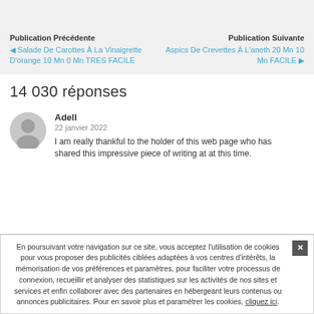Publication Précédente
◀ Salade De Carottes À La Vinaigrette D'orange 10 Mn 0 Mn TRES FACILE
Publication Suivante
Aspics De Crevettes À L'aneth 20 Mn 10 Mn FACILE ▶
14 030 réponses
Adell
22 janvier 2022

I am really thankful to the holder of this web page who has
shared this impressive piece of writing at at this time.
En poursuivant votre navigation sur ce site, vous acceptez l'utilisation de cookies pour vous proposer des publicités ciblées adaptées à vos centres d'intérêts, la mémorisation de vos préférences et paramètres, pour faciliter votre processus de connexion, recueillir et analyser des statistiques sur les activités de nos sites et services et enfin collaborer avec des partenaires en hébergeant leurs contenus ou annonces publicitaires. Pour en savoir plus et paramétrer les cookies, cliquez ici.